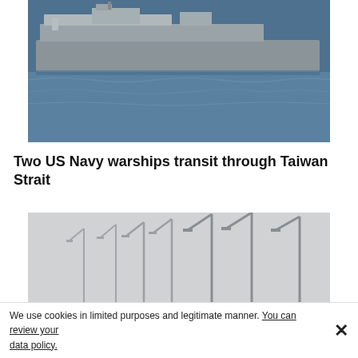[Figure (photo): A US Navy warship sailing on blue ocean water, viewed from the side, grey hull against the sea]
Two US Navy warships transit through Taiwan Strait
[Figure (photo): A row of street lamp poles along a road with colourful book covers or leaning structures at the base, under an overcast sky]
We use cookies in limited purposes and legitimate manner. You can review your data policy.